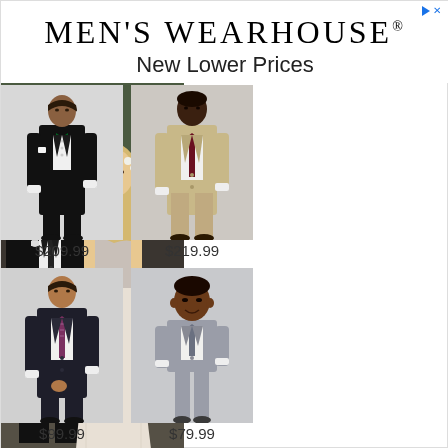MEN'S WEARHOUSE®
New Lower Prices
[Figure (photo): Couple at wedding, man in black tuxedo suit, woman in white lace gown]
[Figure (photo): Man in black tuxedo with bow tie, full length suit photo]
$209.99
[Figure (photo): Man in tan/khaki suit with burgundy tie, full length]
$219.99
[Figure (photo): Man in dark suit with patterned tie, full length]
$99.99
[Figure (photo): Young boy in grey suit with tie, full length]
$79.99